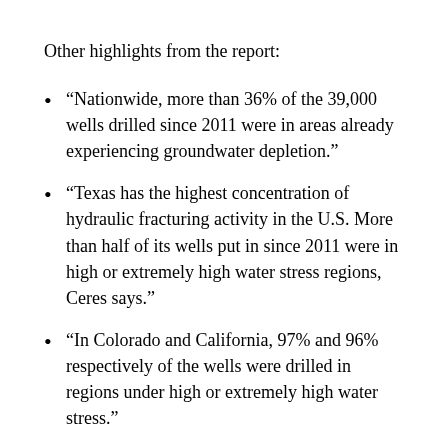Other highlights from the report:
“Nationwide, more than 36% of the 39,000 wells drilled since 2011 were in areas already experiencing groundwater depletion.”
“Texas has the highest concentration of hydraulic fracturing activity in the U.S. More than half of its wells put in since 2011 were in high or extremely high water stress regions, Ceres says.”
“In Colorado and California, 97% and 96% respectively of the wells were drilled in regions under high or extremely high water stress.”
The oil and gas industry says that its overall use of